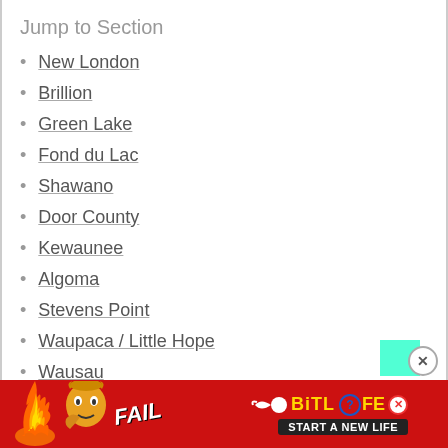Jump to Section
New London
Brillion
Green Lake
Fond du Lac
Shawano
Door County
Kewaunee
Algoma
Stevens Point
Waupaca / Little Hope
Wausau
Sheboygan
[Figure (screenshot): BitLife advertisement banner with red background, 'FAIL' text, cartoon character, flames, BitLife logo and 'START A NEW LIFE' tagline]